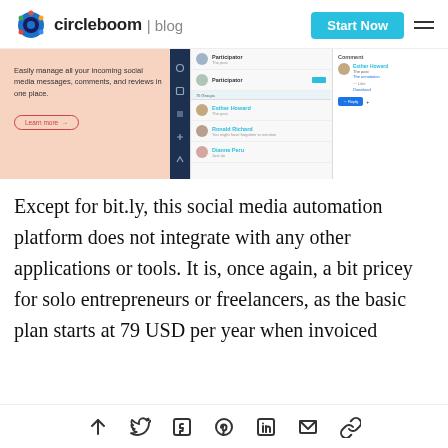circleboom | blog
[Figure (screenshot): Circleboom social media management dashboard screenshot showing inbox/messages panel with chat conversations and comment replies]
Except for bit.ly, this social media automation platform does not integrate with any other applications or tools. It is, once again, a bit pricey for solo entrepreneurs or freelancers, as the basic plan starts at 79 USD per year when invoiced
Share icons: up arrow, Twitter, Facebook, Pinterest, LinkedIn, Email, Link